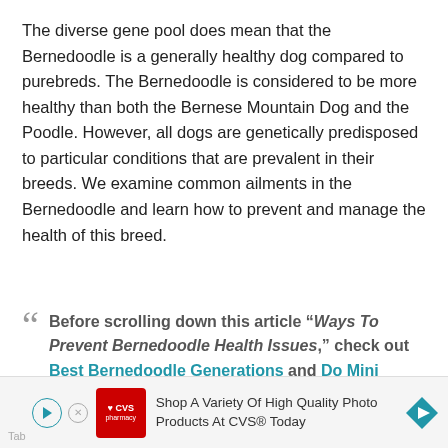The diverse gene pool does mean that the Bernedoodle is a generally healthy dog compared to purebreds. The Bernedoodle is considered to be more healthy than both the Bernese Mountain Dog and the Poodle. However, all dogs are genetically predisposed to particular conditions that are prevalent in their breeds. We examine common ailments in the Bernedoodle and learn how to prevent and manage the health of this breed.
Before scrolling down this article “Ways To Prevent Bernedoodle Health Issues,” check out Best Bernedoodle Generations and Do Mini Bernedoodles Shed?
[Figure (other): Advertisement banner at bottom: CVS Pharmacy logo with text 'Shop A Variety Of High Quality Photo Products At CVS® Today']